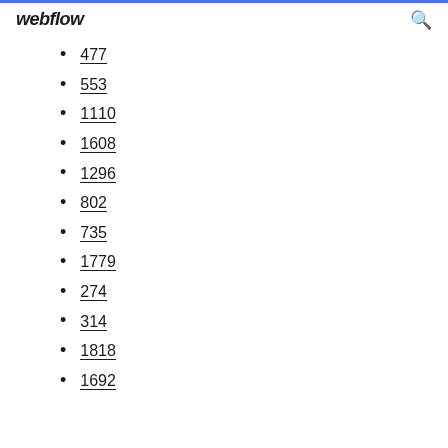webflow
477
553
1110
1608
1296
802
735
1779
274
314
1818
1692